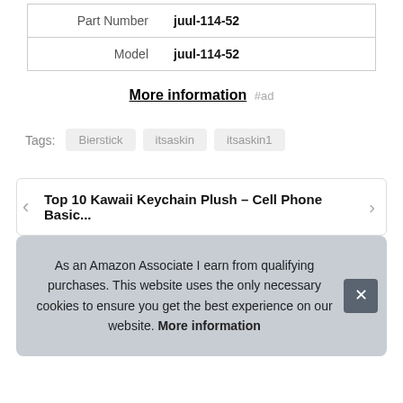| Part Number | juul-114-52 |
| Model | juul-114-52 |
More information #ad
Tags: Bierstick itsaskin itsaskin1
Top 10 Kawaii Keychain Plush – Cell Phone Basic...
As an Amazon Associate I earn from qualifying purchases. This website uses the only necessary cookies to ensure you get the best experience on our website. More information